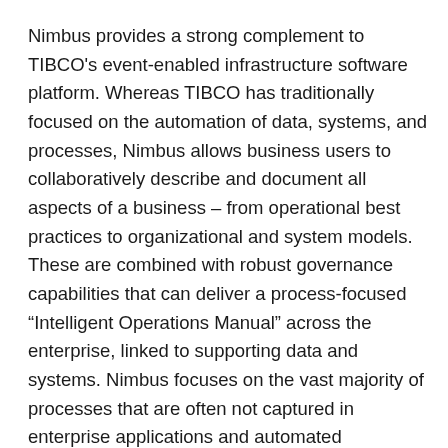Nimbus provides a strong complement to TIBCO's event-enabled infrastructure software platform. Whereas TIBCO has traditionally focused on the automation of data, systems, and processes, Nimbus allows business users to collaboratively describe and document all aspects of a business – from operational best practices to organizational and system models. These are combined with robust governance capabilities that can deliver a process-focused “Intelligent Operations Manual” across the enterprise, linked to supporting data and systems. Nimbus focuses on the vast majority of processes that are often not captured in enterprise applications and automated workflows, and it has found particular traction with business transformation, compliance-led, and continuous improvement initiatives.